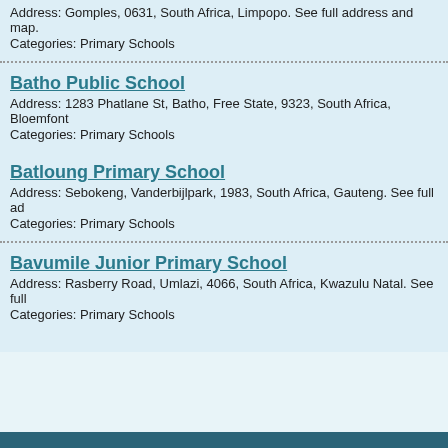Address: Gomples, 0631, South Africa, Limpopo. See full address and map.
Categories: Primary Schools
Batho Public School
Address: 1283 Phatlane St, Batho, Free State, 9323, South Africa, Bloemfont
Categories: Primary Schools
Batloung Primary School
Address: Sebokeng, Vanderbijlpark, 1983, South Africa, Gauteng. See full ad
Categories: Primary Schools
Bavumile Junior Primary School
Address: Rasberry Road, Umlazi, 4066, South Africa, Kwazulu Natal. See full
Categories: Primary Schools
Find every busines  about | contact |